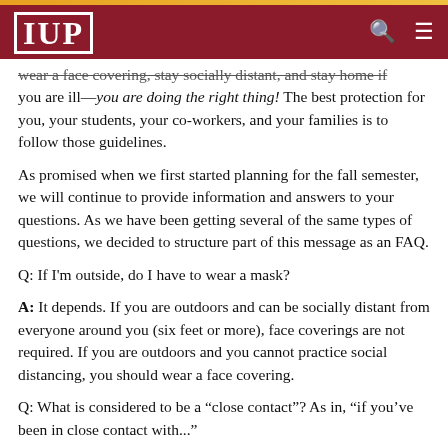IUP
wear a face covering, stay socially distant, and stay home if you are ill—you are doing the right thing! The best protection for you, your students, your co-workers, and your families is to follow those guidelines.
As promised when we first started planning for the fall semester, we will continue to provide information and answers to your questions. As we have been getting several of the same types of questions, we decided to structure part of this message as an FAQ.
Q: If I'm outside, do I have to wear a mask?
A: It depends. If you are outdoors and can be socially distant from everyone around you (six feet or more), face coverings are not required. If you are outdoors and you cannot practice social distancing, you should wear a face covering.
Q: What is considered to be a “close contact”? As in, “if you’ve been in close contact with...”